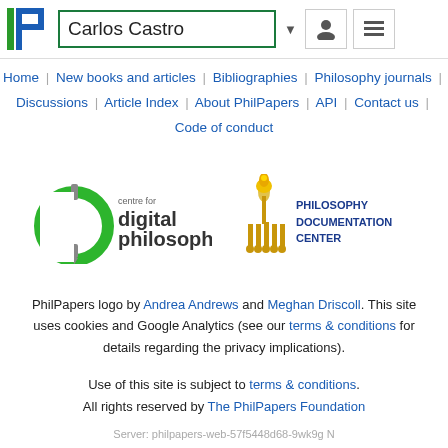Carlos Castro
Home | New books and articles | Bibliographies | Philosophy journals | Discussions | Article Index | About PhilPapers | API | Contact us | Code of conduct
[Figure (logo): Centre for Digital Philosophy logo and Philosophy Documentation Center logo]
PhilPapers logo by Andrea Andrews and Meghan Driscoll. This site uses cookies and Google Analytics (see our terms & conditions for details regarding the privacy implications).
Use of this site is subject to terms & conditions. All rights reserved by The PhilPapers Foundation
Server: philpapers-web-57f5448d68-9wk9g N